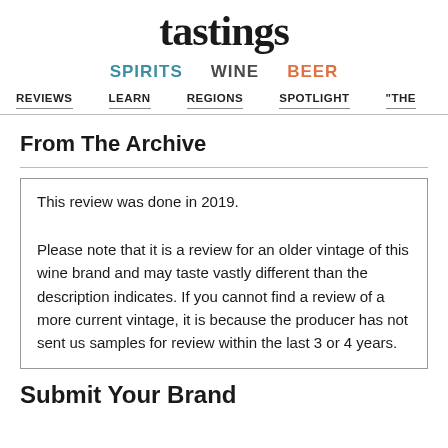tastings
SPIRITS   WINE   BEER
REVIEWS   LEARN   REGIONS   SPOTLIGHT   "THE
From The Archive
This review was done in 2019.

Please note that it is a review for an older vintage of this wine brand and may taste vastly different than the description indicates. If you cannot find a review of a more current vintage, it is because the producer has not sent us samples for review within the last 3 or 4 years.
Submit Your Brand